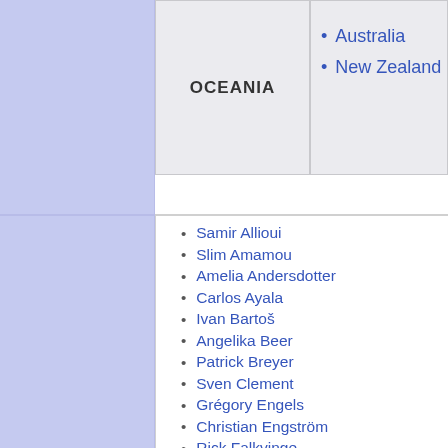|  | OCEANIA | • Australia
• New Zealand |
Australia
New Zealand
Samir Allioui
Slim Amamou
Amelia Andersdotter
Carlos Ayala
Ivan Bartoš
Angelika Beer
Patrick Breyer
Sven Clement
Grégory Engels
Christian Engström
Rick Falkvinge
Stefan Flod
Jasmin Freigang